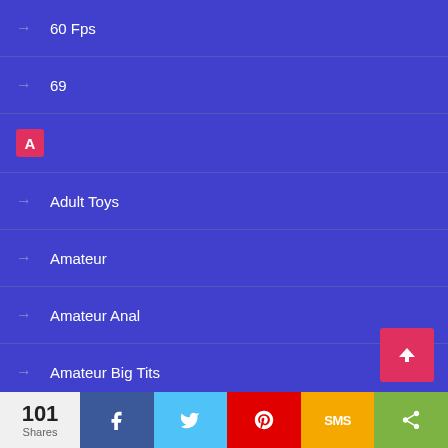60 Fps
69
A
Adult Toys
Amateur
Amateur Anal
Amateur Big Tits
Amateur Blowjob
Amateur Milf
101 Shares | Facebook | Twitter | Pinterest | SMS | Share